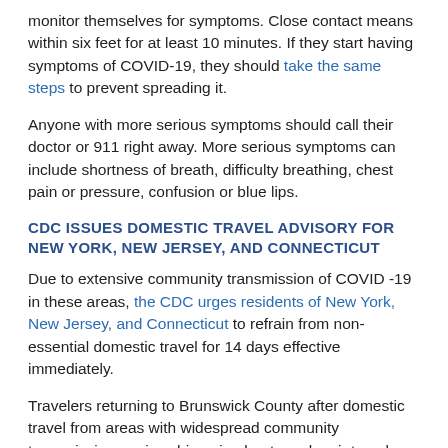monitor themselves for symptoms. Close contact means within six feet for at least 10 minutes. If they start having symptoms of COVID-19, they should take the same steps to prevent spreading it.
Anyone with more serious symptoms should call their doctor or 911 right away. More serious symptoms can include shortness of breath, difficulty breathing, chest pain or pressure, confusion or blue lips.
CDC ISSUES DOMESTIC TRAVEL ADVISORY FOR NEW YORK, NEW JERSEY, AND CONNECTICUT
Due to extensive community transmission of COVID -19 in these areas, the CDC urges residents of New York, New Jersey, and Connecticut to refrain from non-essential domestic travel for 14 days effective immediately.
Travelers returning to Brunswick County after domestic travel from areas with widespread community transmission, cruise ships, riverboats, or by air travel should also stay home for 14 days after returning.